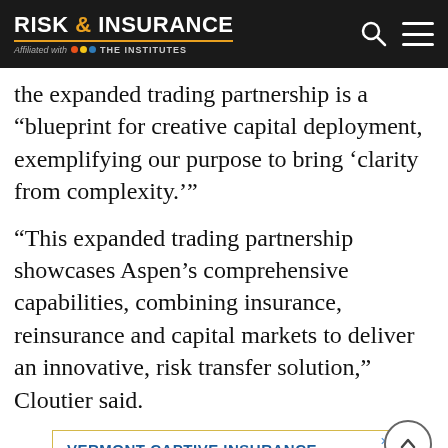RISK & INSURANCE — Affiliated with THE INSTITUTES
the expanded trading partnership is a “blueprint for creative capital deployment, exemplifying our purpose to bring ‘clarity from complexity.’”
“This expanded trading partnership showcases Aspen’s comprehensive capabilities, combining insurance, reinsurance and capital markets to deliver an innovative, risk transfer solution,” Cloutier said.
[Figure (other): Advertisement banner for Vermont Captive Insurance: VERMONT CAPTIVE INSURANCE / OVER 1,200 CAPTIVES LICENSED]